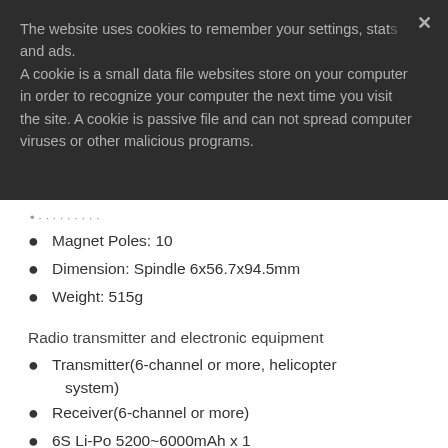The website uses cookies to remember your settings, stats and ads. A cookie is a small data file websites store on your computer in order to recognize your computer the next time you visit the site. A cookie is passive file and can not spread computer viruses or other malicious programs.
Magnet Poles: 10
Dimension: Spindle 6x56.7x94.5mm
Weight: 515g
Radio transmitter and electronic equipment
Transmitter(6-channel or more, helicopter system)
Receiver(6-channel or more)
6S Li-Po 5200~6000mAh x 1
Digital Pitch Gauge
Review